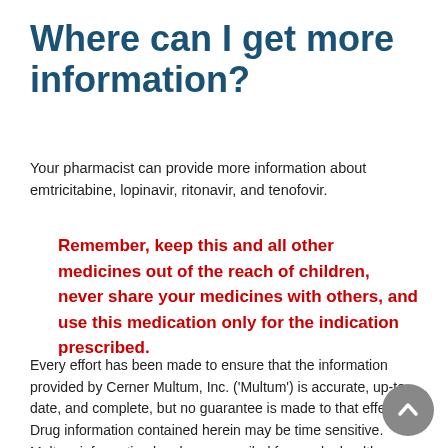Where can I get more information?
Your pharmacist can provide more information about emtricitabine, lopinavir, ritonavir, and tenofovir.
Remember, keep this and all other medicines out of the reach of children, never share your medicines with others, and use this medication only for the indication prescribed.
Every effort has been made to ensure that the information provided by Cerner Multum, Inc. ('Multum') is accurate, up-to-date, and complete, but no guarantee is made to that effect. Drug information contained herein may be time sensitive. Multum information has been compiled for use by healthcare practitioners and consumers in the